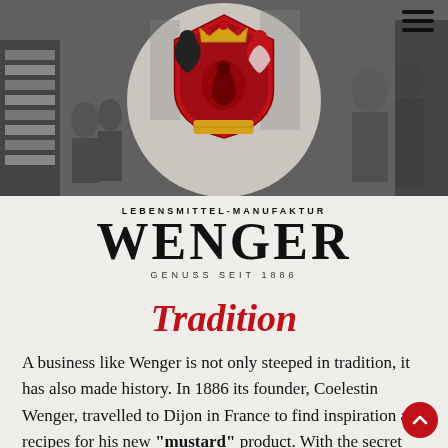[Figure (photo): Black and white historical photograph of a factory/workshop interior with workers, used as hero banner background. A circular light/white area is overlaid in the center containing a coat of arms logo.]
LEBENSMITTEL-MANUFAKTUR
WENGER
GENUSS SEIT 1886
Tradition
A business like Wenger is not only steeped in tradition, it has also made history. In 1886 its founder, Coelestin Wenger, travelled to Dijon in France to find inspiration and recipes for his new "mustard" product. With the secret French recipe